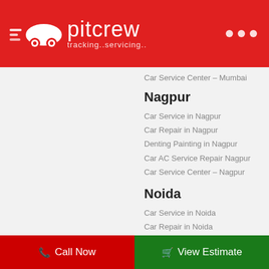pitcrew — tracking..servicing..
Car Service Center – Mumbai
Nagpur
Car Service in Nagpur
Car Repair in Nagpur
Denting Painting in Nagpur
Car AC Service Repair Nagpur
Car Service Center – Nagpur
Noida
Car Service in Noida
Car Repair in Noida
Denting Painting in Noida
Car AC Service Repair Noida
Car Service Center – Noida
Panchkula
Car Service in Panchkula
Car Repair in Panchkula
Call Now | View Estimate